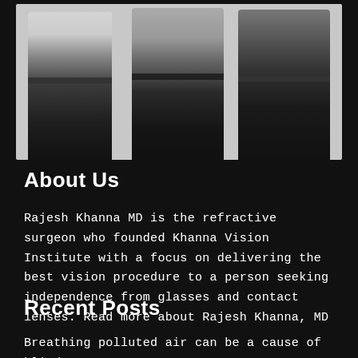[Figure (photo): Group photo showing three people standing together from waist down, wearing dark clothing against a light background]
About Us
Rajesh Khanna MD is the refractive surgeon who founded Khanna Vision Institute with a focus on delivering the best vision procedure to a person seeking independence from glasses and contact lenses. Read more about Rajesh Khanna, MD
Recent Posts
Breathing polluted air can be a cause of blindness,